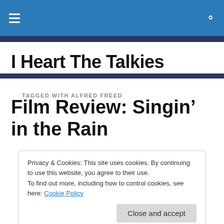I Heart The Talkies — navigation bar
I Heart The Talkies
TAGGED WITH ALFRED FREED
Film Review: Singin’ in the Rain
Privacy & Cookies: This site uses cookies. By continuing to use this website, you agree to their use.
To find out more, including how to control cookies, see here: Cookie Policy